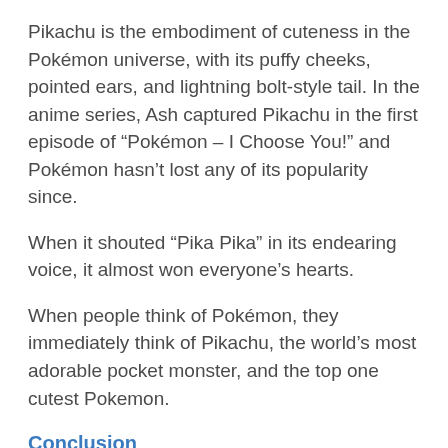Pikachu is the embodiment of cuteness in the Pokémon universe, with its puffy cheeks, pointed ears, and lightning bolt-style tail. In the anime series, Ash captured Pikachu in the first episode of “Pokémon – I Choose You!” and Pokémon hasn’t lost any of its popularity since.
When it shouted “Pika Pika” in its endearing voice, it almost won everyone’s hearts.
When people think of Pokémon, they immediately think of Pikachu, the world’s most adorable pocket monster, and the top one cutest Pokemon.
Conclusion
For the sake of discussion on adorable